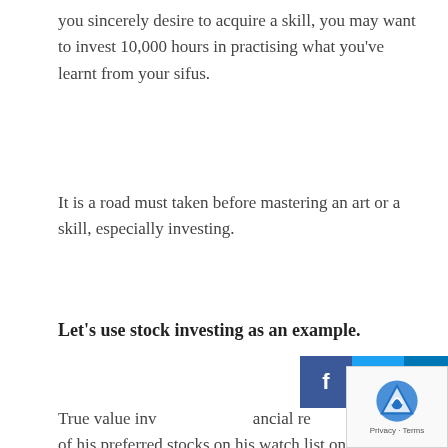you sincerely desire to acquire a skill, you may want to invest 10,000 hours in practising what you've learnt from your sifus.
It is a road must taken before mastering an art or a skill, especially investing.
Let's use stock investing as an example.
True value inv…ancial re… of his preferred stocks on his watch list on a